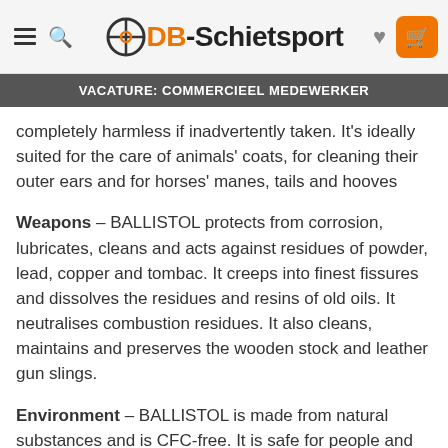DB-Schietsport
VACATURE: COMMERCIEEL MEDEWERKER
completely harmless if inadvertently taken. It's ideally suited for the care of animals' coats, for cleaning their outer ears and for horses' manes, tails and hooves
Weapons – BALLISTOL protects from corrosion, lubricates, cleans and acts against residues of powder, lead, copper and tombac. It creeps into finest fissures and dissolves the residues and resins of old oils. It neutralises combustion residues. It also cleans, maintains and preserves the wooden stock and leather gun slings.
Environment – BALLISTOL is made from natural substances and is CFC-free. It is safe for people and animals. Neither its use nor its natural decomposition will pollute the environment. The white oil used in the